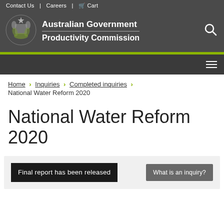Contact Us | Careers | Cart
Australian Government Productivity Commission
[Figure (logo): Australian Government coat of arms logo in white on dark grey background]
Home > Inquiries > Completed inquiries > National Water Reform 2020
National Water Reform 2020
Final report has been released
What is an inquiry?